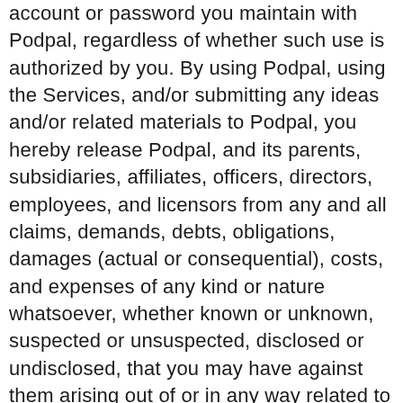account or password you maintain with Podpal, regardless of whether such use is authorized by you. By using Podpal, using the Services, and/or submitting any ideas and/or related materials to Podpal, you hereby release Podpal, and its parents, subsidiaries, affiliates, officers, directors, employees, and licensors from any and all claims, demands, debts, obligations, damages (actual or consequential), costs, and expenses of any kind or nature whatsoever, whether known or unknown, suspected or unsuspected, disclosed or undisclosed, that you may have against them arising out of or in any way related to such disputes and/or to the Services or to any disputes regarding use of ideas and/or related materials submitted to Podpal. YOU HEREBY WAIVE ALL LAWS THAT MAY LIMIT THE EFFICACY OF SUCH RELEASES. FOR EXAMPLE, YOU SPECIFICALLY AGREE TO WAIVE THE PROVISIONS OF CALIFORNIA CIVIL CODE SECTION 1542, WHICH PROVIDES “A GENERAL RELEASE DOES NOT EXTEND TO CLAIMS WHICH THE CREDITOR DOES